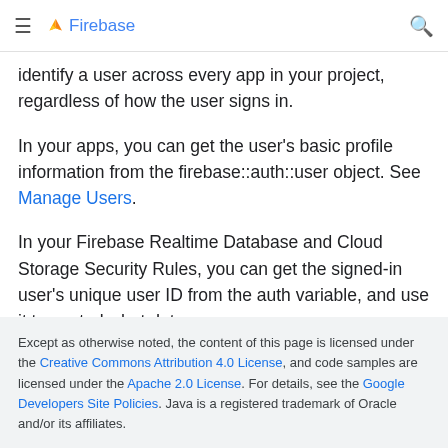Firebase
identify a user across every app in your project, regardless of how the user signs in.
In your apps, you can get the user's basic profile information from the firebase::auth::user object. See Manage Users.
In your Firebase Realtime Database and Cloud Storage Security Rules, you can get the signed-in user's unique user ID from the auth variable, and use it to control what data a user can access.
Except as otherwise noted, the content of this page is licensed under the Creative Commons Attribution 4.0 License, and code samples are licensed under the Apache 2.0 License. For details, see the Google Developers Site Policies. Java is a registered trademark of Oracle and/or its affiliates.